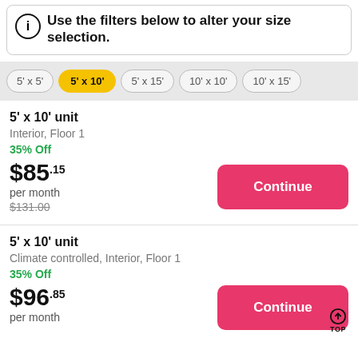Use the filters below to alter your size selection.
5' x 5'
5' x 10'
5' x 15'
10' x 10'
10' x 15'
5' x 10' unit
Interior, Floor 1
35% Off
$85.15 per month
$131.00
5' x 10' unit
Climate controlled, Interior, Floor 1
35% Off
$96.85 per month